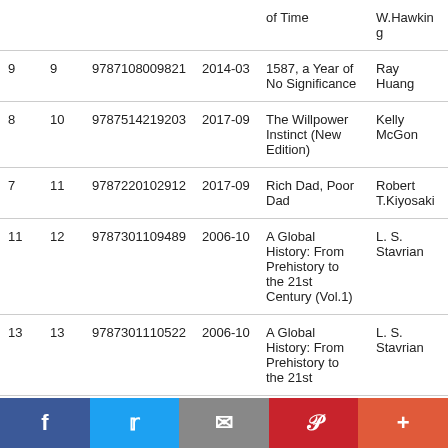|  |  | ISBN | Date | Title | Author |
| --- | --- | --- | --- | --- | --- |
| 9 | 9 | 9787108009821 | 2014-03 | 1587, a Year of No Significance | Ray Huang |
| 8 | 10 | 9787514219203 | 2017-09 | The Willpower Instinct (New Edition) | Kelly McGon |
| 7 | 11 | 9787220102912 | 2017-09 | Rich Dad, Poor Dad | Robert T.Kiyosaki |
| 11 | 12 | 9787301109489 | 2006-10 | A Global History: From Prehistory to the 21st Century (Vol.1) | L. S. Stavrian |
| 13 | 13 | 9787301110522 | 2006-10 | A Global History: From Prehistory to the 21st | L. S. Stavrian |